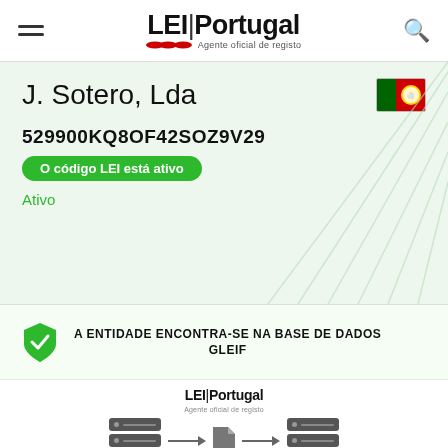LEI|Portugal Agente oficial de registo
J. Sotero, Lda
529900KQ8OF42SOZ9V29
O código LEI está ativo
Ativo
A ENTIDADE ENCONTRA-SE NA BASE DE DADOS GLEIF
[Figure (infographic): LEI Portugal logo with database-to-document-to-database data flow diagram showing server blocks connected by arrows through a document icon]